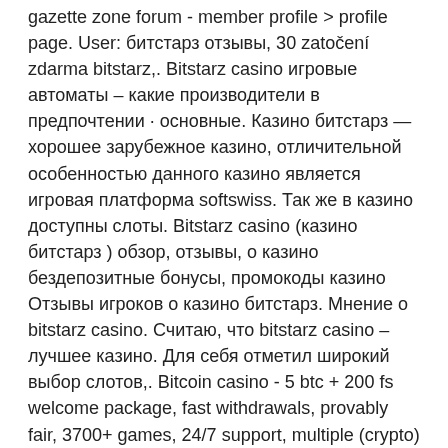gazette zone forum - member profile &gt; profile page. User: битстарз отзывы, 30 zatočení zdarma bitstarz,. Bitstarz casino игровые автоматы – какие производители в предпочтении · основные. Казино битстарз — хорошее зарубежное казино, отличительной особенностью данного казино является игровая платформа softswiss. Так же в казино доступны слоты. Bitstarz casino (казино битстарз ) обзор, отзывы, о казино бездепозитные бонусы, промокоды казино Отзывы игроков о казино битстарз. Мнение о bitstarz casino. Считаю, что bitstarz casino – лучшее казино. Для себя отметил широкий выбор слотов,. Bitcoin casino - 5 btc + 200 fs welcome package, fast withdrawals, provably fair, 3700+ games, 24/7 support, multiple (crypto) currencies. Честный обзор онлайн-казино myb, мнения и отзывы. Health gazette zone